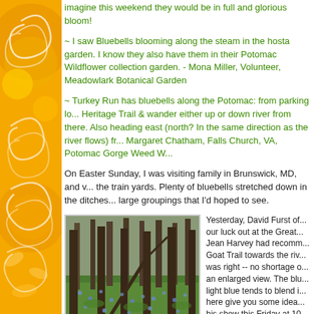[Figure (illustration): Orange decorative background with swirling floral/spiral patterns in yellow and white on the left side of the page]
imagine this weekend they would be in full and glorious bloom!
~ I saw Bluebells blooming along the steam in the hosta garden. I know they also have them in their Potomac Wildflower collection garden. - Mona Miller, Volunteer, Meadowlark Botanical Garden
~ Turkey Run has bluebells along the Potomac: from parking lot take Heritage Trail & wander either up or down river from there. Also heading east (north? In the same direction as the river flows) fr... Margaret Chatham, Falls Church, VA, Potomac Gorge Weed W...
On Easter Sunday, I was visiting family in Brunswick, MD, and w... the train yards. Plenty of bluebells stretched down in the ditches... large groupings that I'd hoped to see.
[Figure (photo): Forest floor photo showing a woodland scene with tree trunks and a carpet of green plants and bluebells covering the ground]
Yesterday, David Furst of... our luck out at the Great... Jean Harvey had recomm... Goat Trail towards the riv... was right -- no shortage o... an enlarged view. The blu... light blue tends to blend i... here give you some idea... his show this Friday at 10...